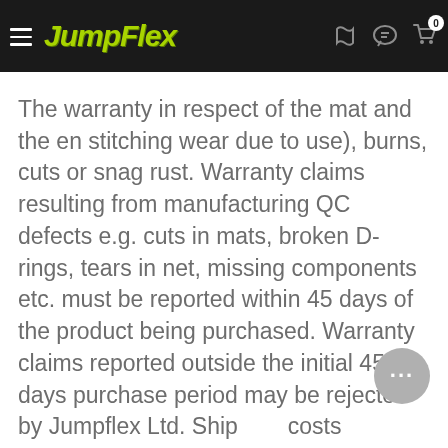JumpFlex
The warranty in respect of the mat and the en stitching wear due to use), burns, cuts or snag rust. Warranty claims resulting from manufacturing QC defects e.g. cuts in mats, broken D-rings, tears in net, missing components etc. must be reported within 45 days of the product being purchased. Warranty claims reported outside the initial 45 days purchase period may be rejected by Jumpflex Ltd. Shipping costs associated with approved warranty claims during this 45-day period will be borne by Jumpflex Ltd. Beyond this 45 day